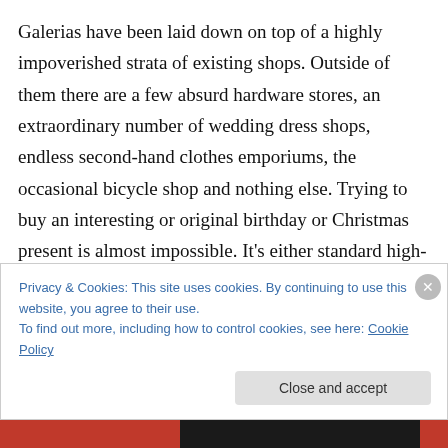Galerias have been laid down on top of a highly impoverished strata of existing shops. Outside of them there are a few absurd hardware stores, an extraordinary number of wedding dress shops, endless second-hand clothes emporiums, the occasional bicycle shop and nothing else. Trying to buy an interesting or original birthday or Christmas present is almost impossible. It’s either standard high-street tat that you could buy anywhere in the world, stained glass angels and humorous Jewish figurines or a spanner.
Privacy & Cookies: This site uses cookies. By continuing to use this website, you agree to their use.
To find out more, including how to control cookies, see here: Cookie Policy
Close and accept